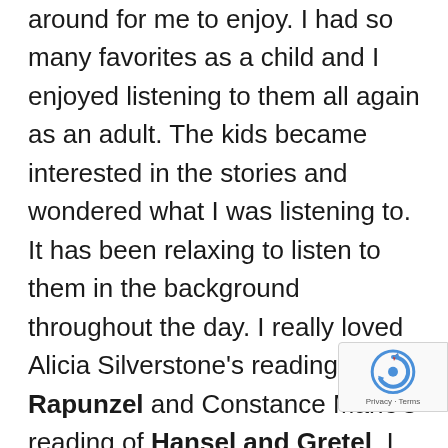around for me to enjoy.  I had so many favorites as a child and I enjoyed listening to them all again as an adult.  The kids became interested in the stories and wondered what I was listening to.  It has been relaxing to listen to them in the background throughout the day. I really loved Alicia Silverstone's reading of Rapunzel and Constance Marie's reading of Hansel and Gretel.  I think I could listen to Ed Asner read stories to me all day long.  I plan to use the songs mixed throughout the CD at my monthly story time.  The kids will love to